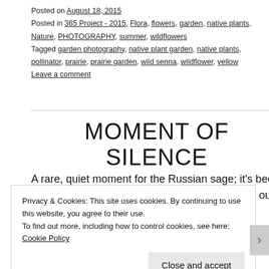Posted on August 18, 2015
Posted in 365 Project - 2015, Flora, flowers, garden, native plants, Nature, PHOTOGRAPHY, summer, wildflowers
Tagged garden photography, native plant garden, native plants, pollinator, prairie, prairie garden, wild senna, wildflower, yellow Leave a comment
MOMENT OF SILENCE
A rare, quiet moment for the Russian sage; it's been a hotbed of bee activity for weeks. I love to see our
Privacy & Cookies: This site uses cookies. By continuing to use this website, you agree to their use.
To find out more, including how to control cookies, see here: Cookie Policy
Close and accept